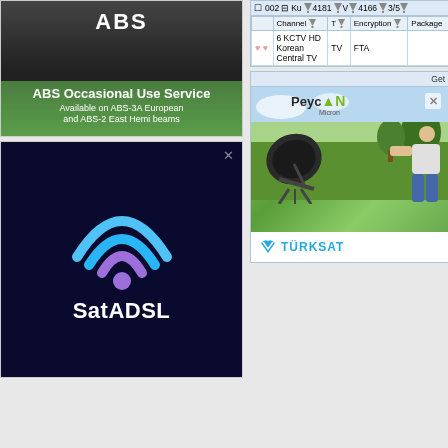[Figure (advertisement): ABS Occasional Use Service advertisement with dark background and grass, white bold text]
[Figure (advertisement): SatADSL advertisement with dark navy background, colorful WiFi/signal icon, and white text]
|  | 002 Ku 4181 V 4166 3/5 | Channel | T | Encryption | Package |
| --- | --- | --- | --- | --- | --- |
| (hearts) 6 | KCTV HD Korean Central TV | TV | FTA |  |
[Figure (advertisement): PeycON Micron / Turksat advertisement with satellite dish, person, and outdoor background]